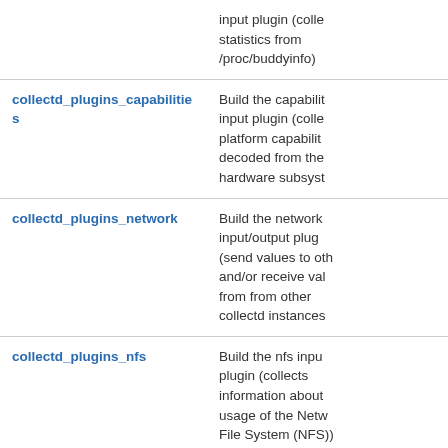| Option | Description |
| --- | --- |
|  | input plugin (colle statistics from /proc/buddyinfo) |
| collectd_plugins_capabilities | Build the capabilit input plugin (colle platform capabilit decoded from the hardware subsyst |
| collectd_plugins_network | Build the network input/output plug (send values to oth and/or receive val from from other collectd instances |
| collectd_plugins_nfs | Build the nfs inpu plugin (collects information about usage of the Netw File System (NFS)) |